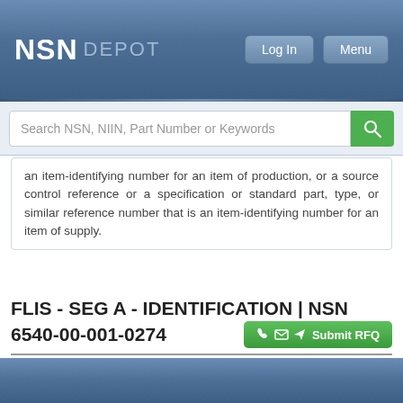NSN DEPOT
an item-identifying number for an item of production, or a source control reference or a specification or standard part, type, or similar reference number that is an item-identifying number for an item of supply.
FLIS - SEG A - IDENTIFICATION | NSN 6540-00-001-0274